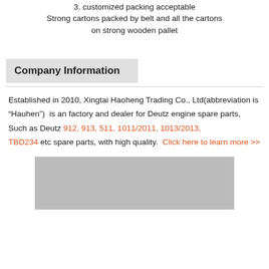3. customized packing acceptable
Strong cartons packed by belt and all the cartons on strong wooden pallet
Company Information
Established in 2010, Xingtai Haoheng Trading Co., Ltd(abbreviation is “Hauhen”)  is an factory and dealer for Deutz engine spare parts, Such as Deutz 912, 913, 511, 1011/2011, 1013/2013, TBD234 etc spare parts, with high quality.  Click here to learn more >>
[Figure (photo): Gray placeholder image representing a company or product photo]